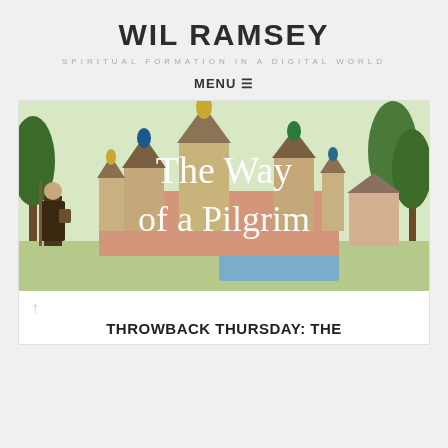WIL RAMSEY
SPIRITUAL FORMATION IN A DIGITAL WORLD
MENU ☰
[Figure (illustration): A medieval Russian-style illustration showing a robed pilgrim with a beard and walking staff on the left, and an elaborate Russian Orthodox monastery or town with colorful onion-dome churches, towers, and walls in the background. Trees flank both sides. White text overlay reads 'The Way of a Pilgrim'.]
THROWBACK THURSDAY: THE